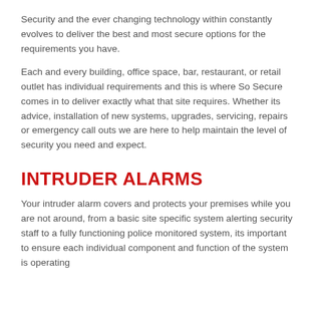Security and the ever changing technology within constantly evolves to deliver the best and most secure options for the requirements you have.
Each and every building, office space, bar, restaurant, or retail outlet has individual requirements and this is where So Secure comes in to deliver exactly what that site requires. Whether its advice, installation of new systems, upgrades, servicing, repairs or emergency call outs we are here to help maintain the level of security you need and expect.
INTRUDER ALARMS
Your intruder alarm covers and protects your premises while you are not around, from a basic site specific system alerting security staff to a fully functioning police monitored system, its important to ensure each individual component and function of the system is operating